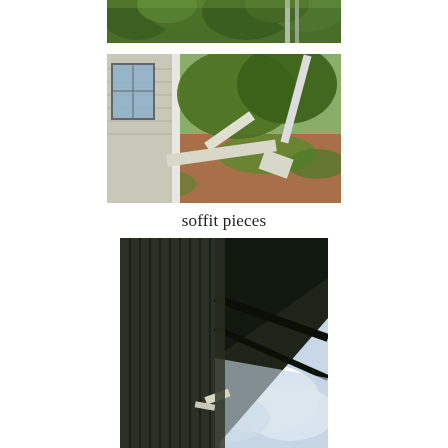[Figure (photo): Partial top of a photo showing green trees and foliage outdoors, cropped at top of page]
[Figure (photo): Photo of side of a house with white siding, fallen soffit pieces on the ground amid gravel and green vegetation]
soffit pieces
[Figure (photo): Photo looking up at the corner of a building with dark green siding, showing damaged soffit/eave area against a cloudy sky]